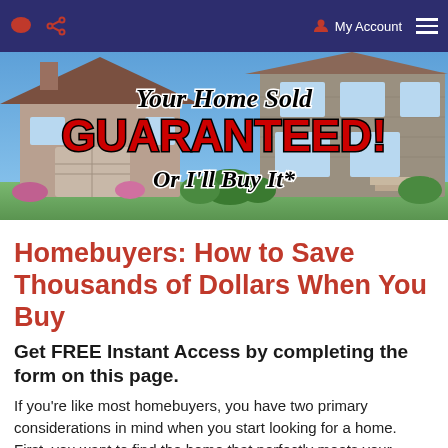My Account
[Figure (photo): Hero banner with a luxury house photo background and text overlay reading 'Your Home Sold GUARANTEED! Or I'll Buy It*']
Homebuyers: How to Save Thousands of Dollars When You Buy
Get FREE Instant Access by completing the form on this page.
If you're like most homebuyers, you have two primary considerations in mind when you start looking for a home. First, you want to find the home that perfectly meets your needs and